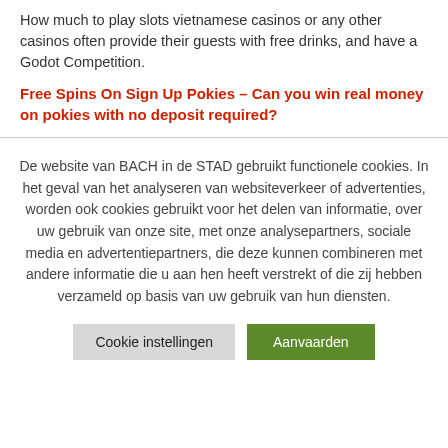How much to play slots vietnamese casinos or any other casinos often provide their guests with free drinks, and have a Godot Competition.
Free Spins On Sign Up Pokies – Can you win real money on pokies with no deposit required?
De website van BACH in de STAD gebruikt functionele cookies. In het geval van het analyseren van websiteverkeer of advertenties, worden ook cookies gebruikt voor het delen van informatie, over uw gebruik van onze site, met onze analysepartners, sociale media en advertentiepartners, die deze kunnen combineren met andere informatie die u aan hen heeft verstrekt of die zij hebben verzameld op basis van uw gebruik van hun diensten.
Cookie instellingen | Aanvaarden